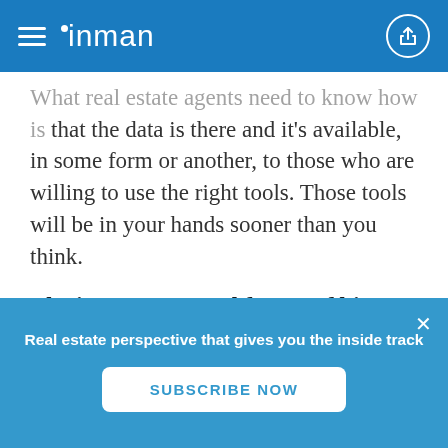inman
What real estate agents need to know how is that the data is there and it’s available, in some form or another, to those who are willing to use the right tools. Those tools will be in your hands sooner than you think.
The importance and future of big data
Analyzing the data to gain insight into customer behavior will have profound impact on the industry. Even the most basic analysis could help...
Real estate perspective that gives you the inside track
SUBSCRIBE NOW